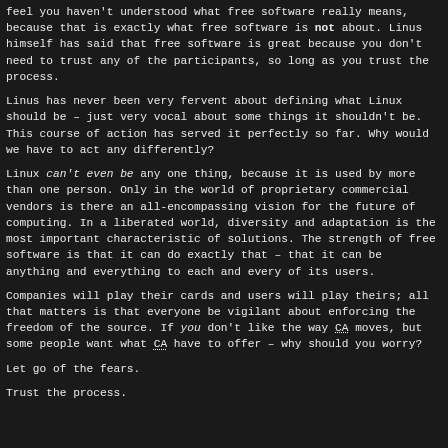feel you haven't understood what free software really means, because that is exactly what free software is not about. Linus himself has said that free software is great because you don't need to trust any of the participants, so long as you trust the process.
Linus has never been very fervent about defining what Linux should be – just very vocal about some things it shouldn't be. This course of action has served it perfectly so far. Why would we have to act any differently?
Linux can't even be any one thing, because it is used by more than one person. Only in the world of proprietary commercial vendors is there an all-encompassing vision for the future of computing. In a liberated world, diversity and adaptation is the most important characteristic of solutions. The strength of free software is that it can do exactly that – that it can be anything and everything to each and every of its users.
Companies will play their cards and users will play theirs; all that matters is that everyone be vigilant about enforcing the freedom of the source. If you don't like the way CA moves, but some people want what CA have to offer – why should you worry?
Let go of the fears.
Trust the process.